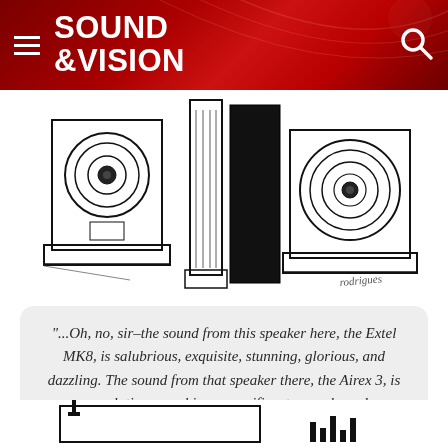SOUND &VISION
[Figure (illustration): Pen-and-ink illustration of large floor-standing loudspeakers, drawn in a sketchy style. Multiple speakers of varying sizes are shown side by side. Artist signature 'rodrigues' visible in lower right.]
"...Oh, no, sir–the sound from this speaker here, the Extel MK8, is salubrious, exquisite, stunning, glorious, and dazzling. The sound from that speaker there, the Airex 3, is superlative, smashing, magnificent, superb, and impeccable."
[Figure (illustration): Partial pen-and-ink illustration visible at the bottom of the page, appears to show electronic equipment or speaker cross-section diagrams.]